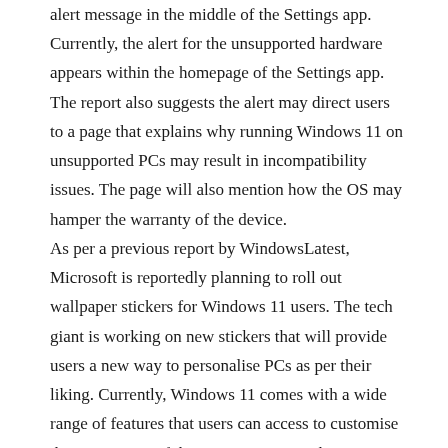alert message in the middle of the Settings app. Currently, the alert for the unsupported hardware appears within the homepage of the Settings app. The report also suggests the alert may direct users to a page that explains why running Windows 11 on unsupported PCs may result in incompatibility issues. The page will also mention how the OS may hamper the warranty of the device.
As per a previous report by WindowsLatest, Microsoft is reportedly planning to roll out wallpaper stickers for Windows 11 users. The tech giant is working on new stickers that will provide users a new way to personalise PCs as per their liking. Currently, Windows 11 comes with a wide range of features that users can access to customise the appearance of their PC. You can pick accent colours as per the apps you use or as your wallpaper. It also comes with a transparency effect for apps called Mica. The report suggests that references for wallpaper stickers support have been found in the Windows 11 preview builds.